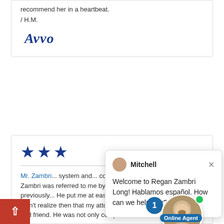recommend her in a heartbeat.
/ H.M.
[Figure (logo): Avvo logo in bold italic blue text]
[Figure (other): Three blue stars rating]
Mr. Zambri... system and... compassion of a family member. Mr. Zambri was referred to me by a friend, whom he represented previously... He put me at ease and inspired confidence... I didn't realize then that my attorney would become my savior and friend. He was not only compassionate but zealous... I
[Figure (other): Chat popup from Mitchell: Welcome to Regan Zambri Long! Hablamos español. How can we help you?]
[Figure (other): Online agent avatar with notification badge and Online Agent label]